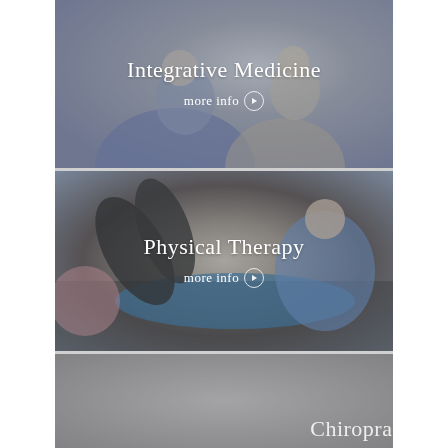[Figure (photo): Healthcare professional performing integrative medicine therapy on a smiling patient]
Integrative Medicine
more info ❯
[Figure (photo): Physical therapist assisting a woman doing exercises on a mat]
Physical Therapy
more info ❯
[Figure (photo): Chiropractic care - partial view of gray background with text emerging]
Chiropractic Care